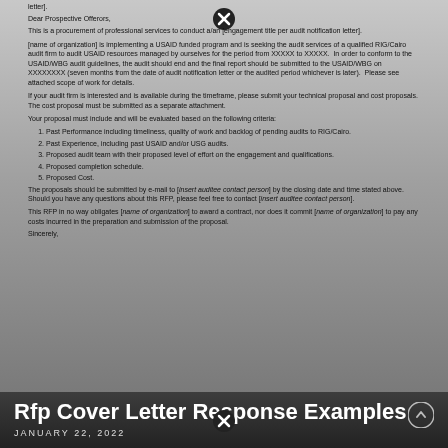letter].
Dear Prospective Offerors,
This is a procurement of professional services to conduct a/an [engagement title per audit notification letter].
[name of organization] is implementing a USAID funded program and is seeking the audit services of a qualified RIG/Cairo audit firm to audit USAID resources managed by ourselves for the period from XXXXX to XXXXX. In order to conform to the USAID/WBG audit guidelines, the audit should end and the final report should be submitted to the USAID/WBG on XXXXXXXX (seven months from the date of audit notification letter or the audited period whichever is later). Please see attached scope of work for details.
If your audit firm is interested and is available during the timeframe, please submit your technical proposal and cost proposals. The cost proposal must be submitted as a separate attachment.
Your proposal must include and will be evaluated based on the following criteria:
Past Performance including timeliness, quality of work and backlog of pending audits to RIG/Cairo.
Past Experience, including past USAID and/or USG audits.
Proposed audit team with their proposed level of effort on the engagement and qualifications.
Proposed completion schedule.
Proposed Cost.
The proposals should be submitted by e-mail to [insert auditee contact person] by the closing date and time stated above. Should you have any questions about this RFP, please feel free to contact [insert auditee contact person].
This RFP in no way obligates [name of organization] to award a contract, nor does it commit [name of organization] to pay any costs incurred in the preparation and submission of the proposal.
Sincerely,
Rfp Cover Letter Response Examples
JANUARY 22, 2022